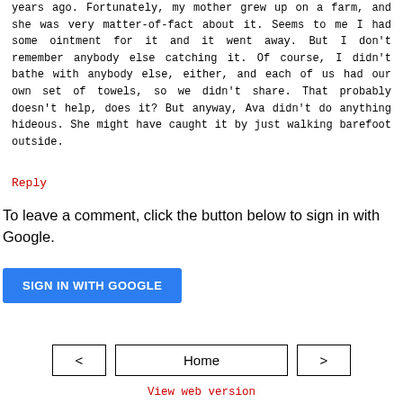years ago. Fortunately, my mother grew up on a farm, and she was very matter-of-fact about it. Seems to me I had some ointment for it and it went away. But I don't remember anybody else catching it. Of course, I didn't bathe with anybody else, either, and each of us had our own set of towels, so we didn't share. That probably doesn't help, does it? But anyway, Ava didn't do anything hideous. She might have caught it by just walking barefoot outside.
Reply
To leave a comment, click the button below to sign in with Google.
SIGN IN WITH GOOGLE
Home
View web version